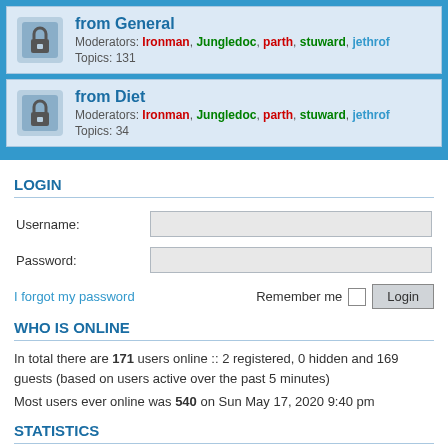from General
Moderators: Ironman, Jungledoc, parth, stuward, jethrof
Topics: 131
from Diet
Moderators: Ironman, Jungledoc, parth, stuward, jethrof
Topics: 34
LOGIN
Username:
Password:
I forgot my password
Remember me  Login
WHO IS ONLINE
In total there are 171 users online :: 2 registered, 0 hidden and 169 guests (based on users active over the past 5 minutes)
Most users ever online was 540 on Sun May 17, 2020 9:40 pm
STATISTICS